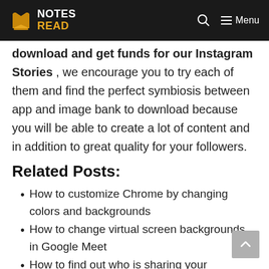NOTES READ
download and get funds for our Instagram Stories , we encourage you to try each of them and find the perfect symbiosis between app and image bank to download because you will be able to create a lot of content and in addition to great quality for your followers.
Related Posts:
How to customize Chrome by changing colors and backgrounds
How to change virtual screen backgrounds in Google Meet
How to find out who is sharing your Instagram Stories